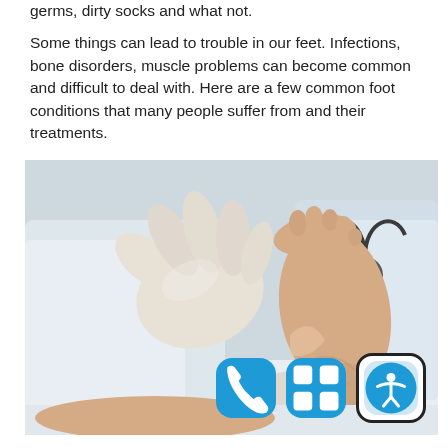germs, dirty socks and what not.

Some things can lead to trouble in our feet. Infections, bone disorders, muscle problems can become common and difficult to deal with. Here are a few common foot conditions that many people suffer from and their treatments.
[Figure (photo): A doctor wearing white latex gloves examining the sole of a patient's foot. The doctor is wearing a white coat and has a stethoscope around their neck.]